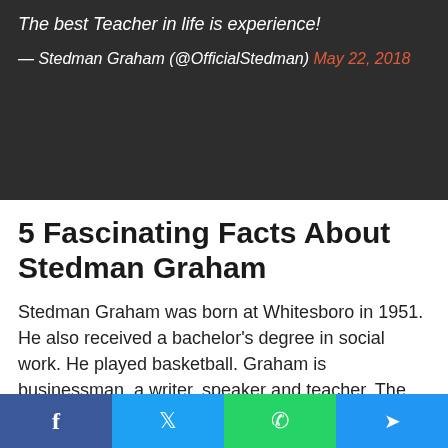The best Teacher in life is experience!

— Stedman Graham (@OfficialStedman) May 22, 2018
5 Fascinating Facts About Stedman Graham
Stedman Graham was born at Whitesboro in 1951. He also received a bachelor's degree in social work. He played basketball. Graham is businessman, a writer, speaker and teacher. The writer is
f  t  ✆  ➤